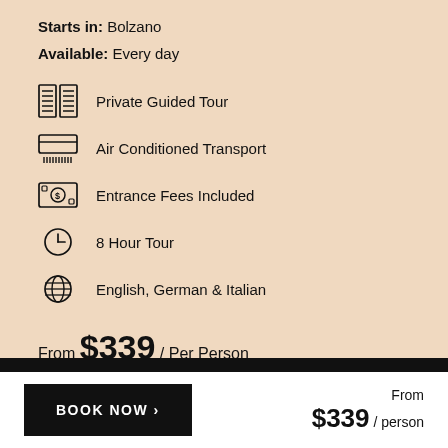Starts in: Bolzano
Available: Every day
Private Guided Tour
Air Conditioned Transport
Entrance Fees Included
8 Hour Tour
English, German & Italian
From $339 / Per Person
BOOK NOW ›
From $339 / person